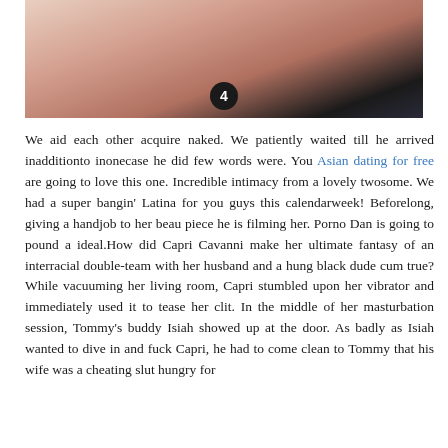[Figure (photo): Close-up intimate photo of two people, one bald individual and another wearing dark clothing, with a circular badge showing the number 4 overlaid on the image.]
We aid each other acquire naked. We patiently waited till he arrived inadditionto inonecase he did few words were. You Asian dating for free are going to love this one. Incredible intimacy from a lovely twosome. We had a super bangin' Latina for you guys this calendarweek! Beforelong, giving a handjob to her beau piece he is filming her. Porno Dan is going to pound a ideal.How did Capri Cavanni make her ultimate fantasy of an interracial double-team with her husband and a hung black dude cum true? While vacuuming her living room, Capri stumbled upon her vibrator and immediately used it to tease her clit. In the middle of her masturbation session, Tommy's buddy Isiah showed up at the door. As badly as Isiah wanted to dive in and fuck Capri, he had to come clean to Tommy that his wife was a cheating slut hungry for